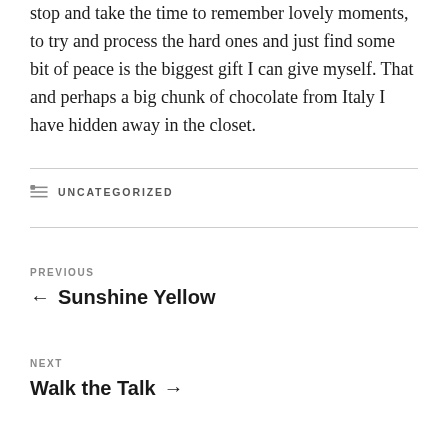stop and take the time to remember lovely moments, to try and process the hard ones and just find some bit of peace is the biggest gift I can give myself. That and perhaps a big chunk of chocolate from Italy I have hidden away in the closet.
UNCATEGORIZED
PREVIOUS
← Sunshine Yellow
NEXT
Walk the Talk →